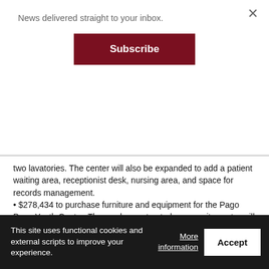News delivered straight to your inbox.
Subscribe
two lavatories. The center will also be expanded to add a patient waiting area, receptionist desk, nursing area, and space for records management.
• $278,434 to purchase furniture and equipment for the Pago Pago Youth Center. The newly constructed community center will include an indoor basketball/volleyball court, kitchen, computer lab, sewing room, weight room, stage area, restrooms, and office areas. The new furniture, equipment, and supplies will help the American Samoa Department of Youth and Women's Affairs furnish the new building and facilitate recreational programs such as the Youth Academy, sewing, cooking, flower arrangements, and other programs for youth and the elderly. (OIA)
This site uses functional cookies and external scripts to improve your experience.
More information
Accept